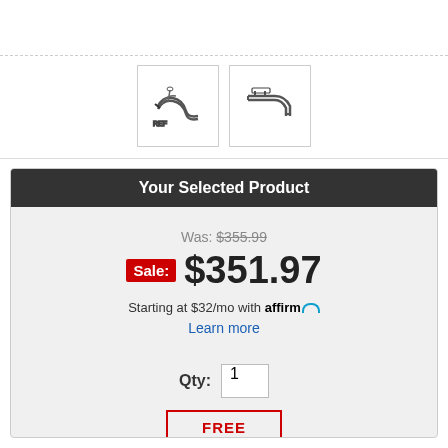[Figure (photo): Two product thumbnail images of exhaust headers/pipes shown side by side in white bordered boxes]
Your Selected Product
Was: $355.99
Sale: $351.97
Starting at $32/mo with affirm
Learn more
Qty: 1
[Figure (illustration): FREE SHIPPING stamp graphic in red text with border]